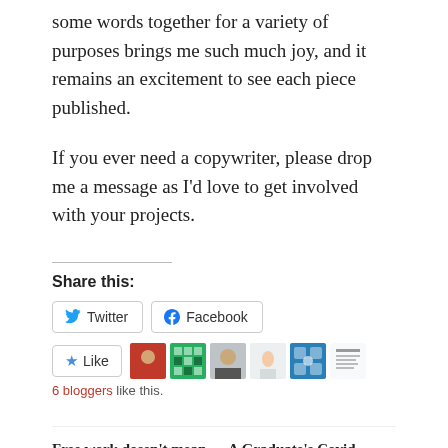some words together for a variety of purposes brings me such much joy, and it remains an excitement to see each piece published.
If you ever need a copywriter, please drop me a message as I'd love to get involved with your projects.
Share this:
[Figure (other): Twitter and Facebook share buttons, Like button with 6 blogger avatars]
6 bloggers like this.
Free work dosen't mean it's bad work
A Graduate's Covid Working Life